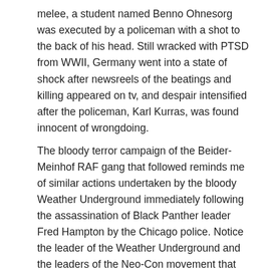melee, a student named Benno Ohnesorg was executed by a policeman with a shot to the back of his head. Still wracked with PTSD from WWII, Germany went into a state of shock after newsreels of the beatings and killing appeared on tv, and despair intensified after the policeman, Karl Kurras, was found innocent of wrongdoing.
The bloody terror campaign of the Beider-Meinhof RAF gang that followed reminds me of similar actions undertaken by the bloody Weather Underground immediately following the assassination of Black Panther leader Fred Hampton by the Chicago police. Notice the leader of the Weather Underground and the leaders of the Neo-Con movement that fomented two devastating and unnecessary wars all emanated from the Rockefeller-funded University of Chicago. This is no accident in my judgment. Like the Weather Underground, the RAF was led by grandstanding publicity seekers who favored